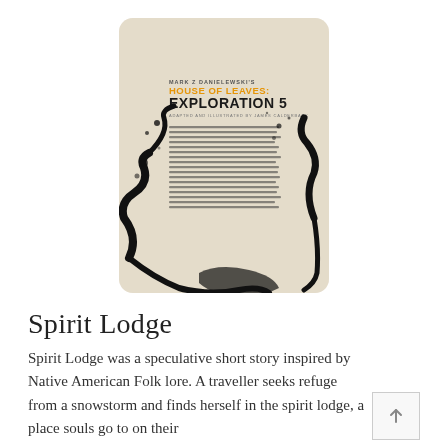[Figure (illustration): Book cover illustration for 'Mark Z. Danielewski's House of Leaves: Exploration 5, Adapted and Illustrated by James Calderbank'. The cover has a worn beige/cream background with black ink splatter and brushstroke artwork depicting twisted branches or abstract shapes. Text lines (simulated body text) fill the center area of the cover.]
Spirit Lodge
Spirit Lodge was a speculative short story inspired by Native American Folk lore. A traveller seeks refuge from a snowstorm and finds herself in the spirit lodge, a place souls go to on their